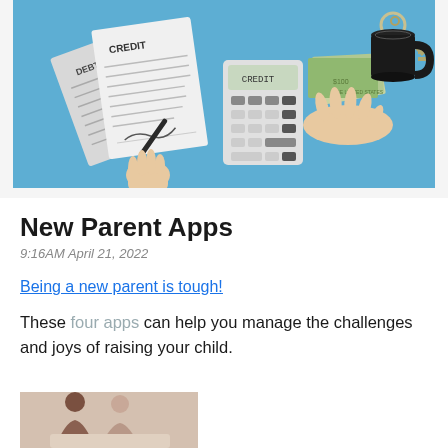[Figure (illustration): Hero illustration on blue background showing financial documents labeled DEBT and CREDIT, a hand signing a document with a pen, a calculator, US dollar bills, house keys, and a coffee mug — collage style on a light blue background.]
New Parent Apps
9:16AM April 21, 2022
Being a new parent is tough!
These four apps can help you manage the challenges and joys of raising your child.
[Figure (photo): Photo of two people (parents) sitting together, looking down at something, in a warm indoor setting.]